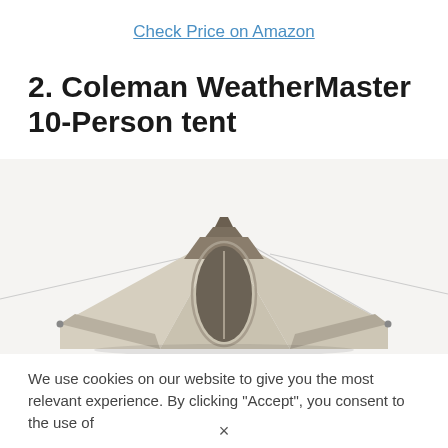Check Price on Amazon
2. Coleman WeatherMaster 10-Person tent
[Figure (photo): Aerial/top-down view of a large Coleman WeatherMaster 10-Person tent with beige/tan fabric panels and darker brown ridge and door accents, guy lines extending outward, photographed against a white background.]
We use cookies on our website to give you the most relevant experience. By clicking "Accept", you consent to the use of
×